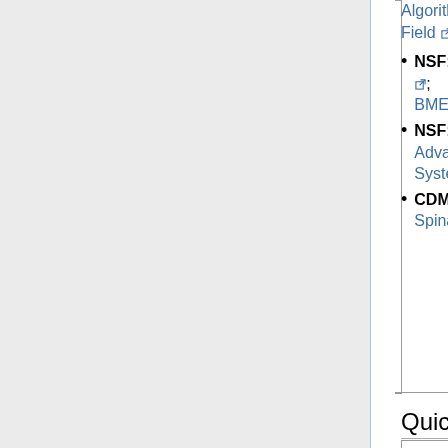NSF: Smart, Connected Health; BME;
NSF: PIRE; Advancing Health Through System Modeling
CDMRP: SpinalCord Program
Quick Personal Links
Navigation: AnyWho;
Financial
Travel: Booking.co Hotel.com; AirFareWatchDog